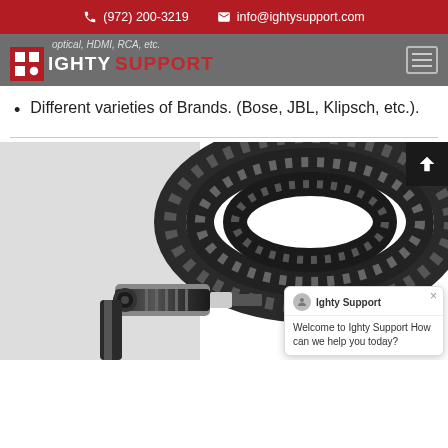(972) 200-3219  info@ightysupport.com
optical, HDMI, RCA, etc. — IGHTY SUPPORT
Different varieties of Brands. (Bose, JBL, Klipsch, etc.).
[Figure (photo): Close-up photo of a braided audio/optical cable with a metal connector plug on white background]
Welcome to Ighty Support How can we help you today?